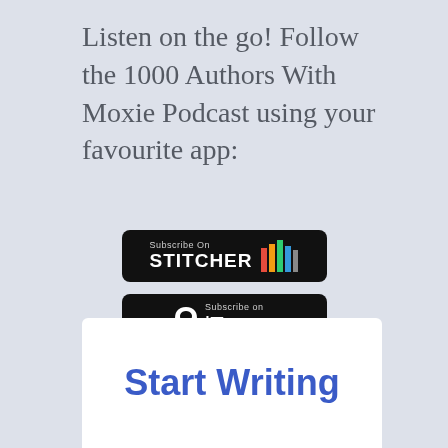Listen on the go! Follow the 1000 Authors With Moxie Podcast using your favourite app:
[Figure (logo): Subscribe On Stitcher badge — black rounded rectangle with 'Subscribe On' in small text above 'STITCHER' in bold white letters and colorful vertical bars logo]
[Figure (logo): Subscribe on iTunes badge — black rounded rectangle with Apple logo icon, 'Subscribe on' in small text above 'iTunes' in white letters]
Start Writing